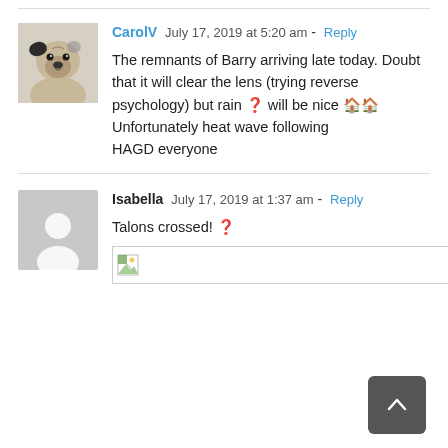CarolV  July 17, 2019 at 5:20 am - Reply

The remnants of Barry arriving late today. Doubt that it will clear the lens (trying reverse psychology) but rain 🌧 will be nice 🏡
Unfortunately heat wave following
HAGD everyone
Isabella  July 17, 2019 at 1:37 am - Reply

Talons crossed! 🤞
[Figure (other): Broken image placeholder thumbnail]